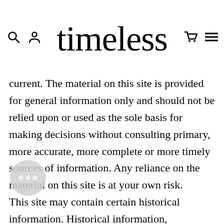timeless
current. The material on this site is provided for general information only and should not be relied upon or used as the sole basis for making decisions without consulting primary, more accurate, more complete or more timely sources of information. Any reliance on the material on this site is at your own risk. This site may contain certain historical information. Historical information, necessarily, is not current and is provided for your reference e reserve the right to modify the contents of this site at any time, but we have no obligation to update any information on our site. You agre...